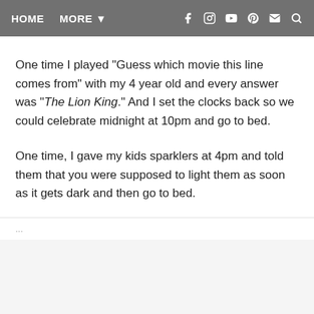HOME  MORE ▾
One time I played "Guess which movie this line comes from" with my 4 year old and every answer was "The Lion King." And I set the clocks back so we could celebrate midnight at 10pm and go to bed.
One time, I gave my kids sparklers at 4pm and told them that you were supposed to light them as soon as it gets dark and then go to bed.
...